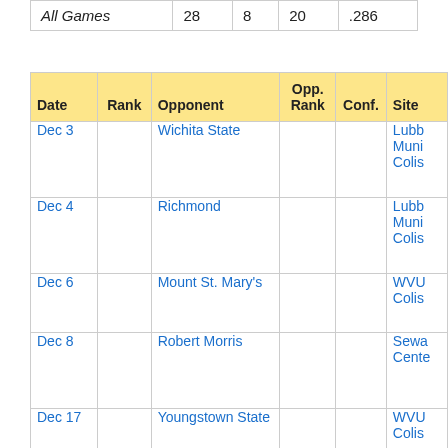|  |  |  |  |  |
| --- | --- | --- | --- | --- |
| All Games | 28 | 8 | 20 | .286 |
| Date | Rank | Opponent | Opp. Rank | Conf. | Site |
| --- | --- | --- | --- | --- | --- |
| Dec 3 |  | Wichita State |  |  | Lubb Muni Colis |
| Dec 4 |  | Richmond |  |  | Lubb Muni Colis |
| Dec 6 |  | Mount St. Mary's |  |  | WVU Colis |
| Dec 8 |  | Robert Morris |  |  | Sewa Cente |
| Dec 17 |  | Youngstown State |  |  | WVU Colis |
| Jan 4 |  | Rutgers |  | * | Louis Brow |